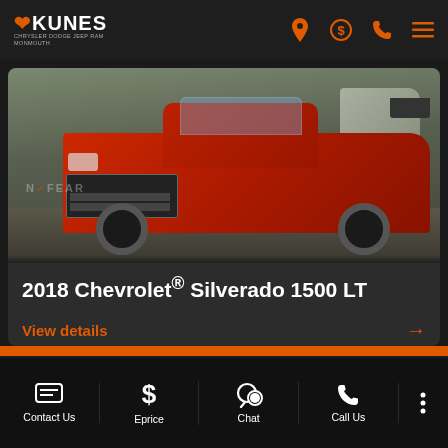Kunes Chrysler Dodge Jeep Ram Monmouth
[Figure (photo): Red 2018 Chevrolet Silverado 1500 LT pickup truck in a dealership lot]
2018 Chevrolet® Silverado 1500 LT
View details →
Contact Us | Eprice | Chat | Call Us